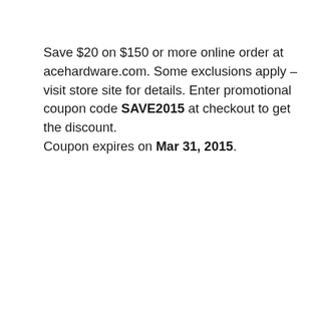Save $20 on $150 or more online order at acehardware.com. Some exclusions apply – visit store site for details. Enter promotional coupon code SAVE2015 at checkout to get the discount.
Coupon expires on Mar 31, 2015.